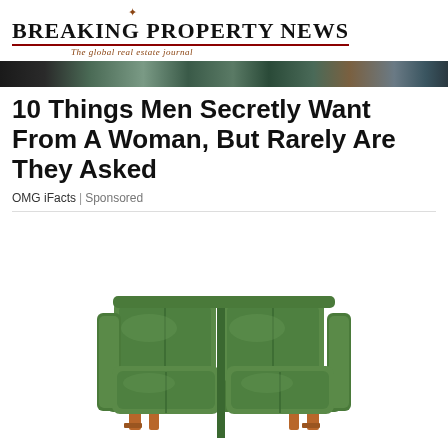BREAKING PROPERTY NEWS – The global real estate journal
10 Things Men Secretly Want From A Woman, But Rarely Are They Asked
OMG iFacts | Sponsored
[Figure (photo): A green mid-century modern sofa with wooden legs, two seat cushions and two back cushions, on a white background]